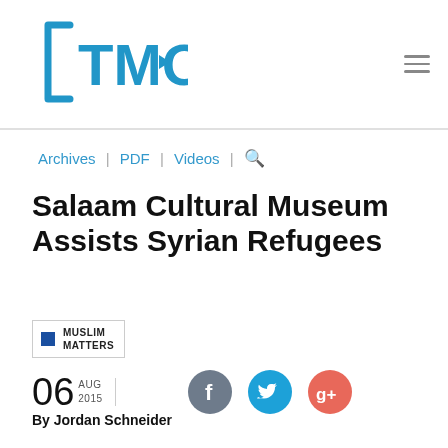[Figure (logo): TMO logo — blue square bracket outline with TMO text inside, blue color]
Archives | PDF | Videos | Search
Salaam Cultural Museum Assists Syrian Refugees
MUSLIM MATTERS
06 AUG 2015
[Figure (illustration): Social media icons: Facebook (dark grey circle with f), Twitter (blue circle with bird), Google+ (salmon/red circle with g+)]
By Jordan Schneider